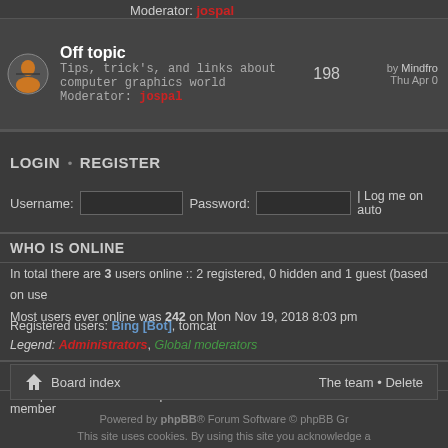Moderator: jospal
Off topic
Tips, trick's, and links about computer graphics world
Moderator: jospal
198
by Mindfro
Thu Apr 0
LOGIN • REGISTER
Username:
Password:
| Log me on auto
WHO IS ONLINE
In total there are 3 users online :: 2 registered, 0 hidden and 1 guest (based on use
Most users ever online was 242 on Mon Nov 19, 2018 8:03 pm
Registered users: Bing [Bot], tomcat
Legend: Administrators, Global moderators
STATISTICS
Total posts 39984 • Total topics 7096 • Total members 16565 • Our newest member
Board index
The team • Delete
Powered by phpBB® Forum Software © phpBB Gr
This site uses cookies. By using this site you acknowledge a